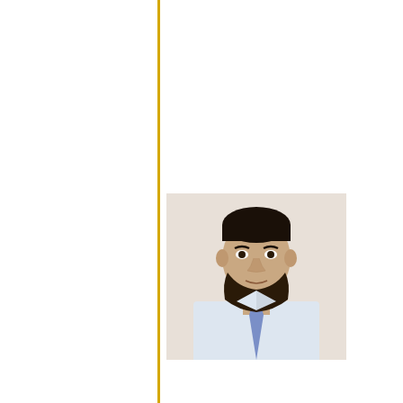[Figure (photo): Headshot photo of a man with dark hair and beard, wearing a white shirt and blue tie, against a light background]
Hi This is Ze... 09 years ... Transcription... a couple of T... Wrapping... Marketing, E... International... Projects with... like, Phili... Corporation ... Group Dub... (for Twitt... Hospital D... Travelling E... US ( Rew... working on n... much! Zee... Punjabi-... 321... http://www...